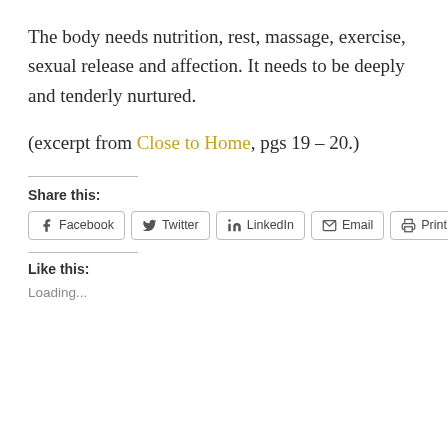The body needs nutrition, rest, massage, exercise, sexual release and affection. It needs to be deeply and tenderly nurtured.
(excerpt from Close to Home, pgs 19 – 20.)
Share this:
Facebook Twitter LinkedIn Email Print
Like this:
Loading...